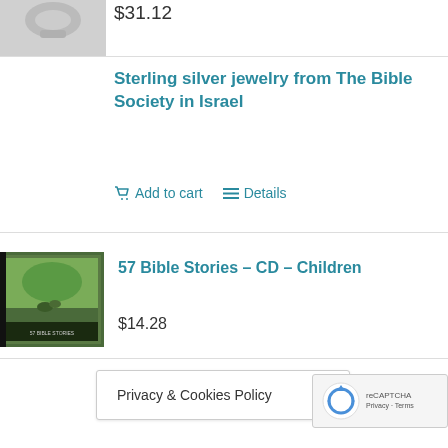[Figure (photo): Partial photo of a sterling silver jewelry item, top left corner]
$31.12
Sterling silver jewelry from The Bible Society in Israel
Add to cart   Details
[Figure (photo): CD cover for 57 Bible Stories – CD – Children, showing nature scene illustration]
57 Bible Stories – CD – Children
$14.28
This CD c… ries … by Old …
Privacy & Cookies Policy